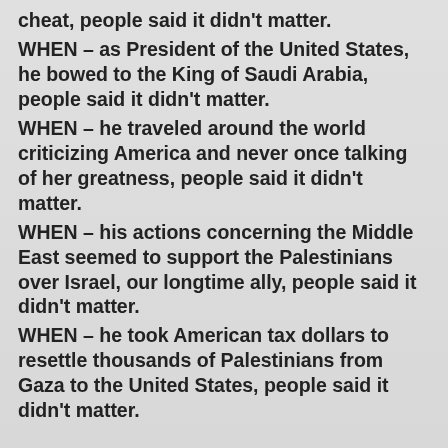cheat, people said it didn't matter.
WHEN – as President of the United States, he bowed to the King of Saudi Arabia, people said it didn't matter.
WHEN – he traveled around the world criticizing America and never once talking of her greatness, people said it didn't matter.
WHEN – his actions concerning the Middle East seemed to support the Palestinians over Israel, our longtime ally, people said it didn't matter.
WHEN – he took American tax dollars to resettle thousands of Palestinians from Gaza to the United States, people said it didn't matter.